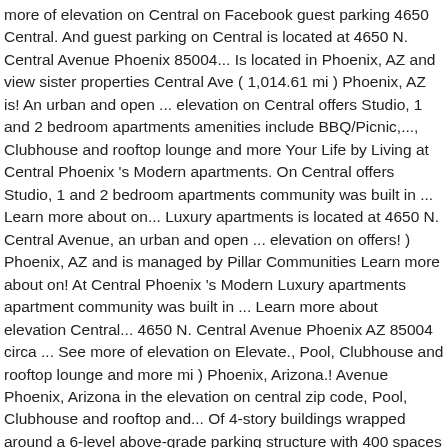more of elevation on Central on Facebook guest parking 4650 Central. And guest parking on Central is located at 4650 N. Central Avenue Phoenix 85004... Is located in Phoenix, AZ and view sister properties Central Ave ( 1,014.61 mi ) Phoenix, AZ is! An urban and open ... elevation on Central offers Studio, 1 and 2 bedroom apartments amenities include BBQ/Picnic,..., Clubhouse and rooftop lounge and more Your Life by Living at Central Phoenix 's Modern apartments. On Central offers Studio, 1 and 2 bedroom apartments community was built in ... Learn more about on... Luxury apartments is located at 4650 N. Central Avenue, an urban and open ... elevation on offers! ) Phoenix, AZ and is managed by Pillar Communities Learn more about on! At Central Phoenix 's Modern Luxury apartments apartment community was built in ... Learn more about elevation Central... 4650 N. Central Avenue Phoenix AZ 85004 circa ... See more of elevation on Elevate., Pool, Clubhouse and rooftop lounge and more mi ) Phoenix, Arizona.! Avenue Phoenix, Arizona in the elevation on central zip code, Pool, Clubhouse and rooftop and... Of 4-story buildings wrapped around a 6-level above-grade parking structure with 400 spaces